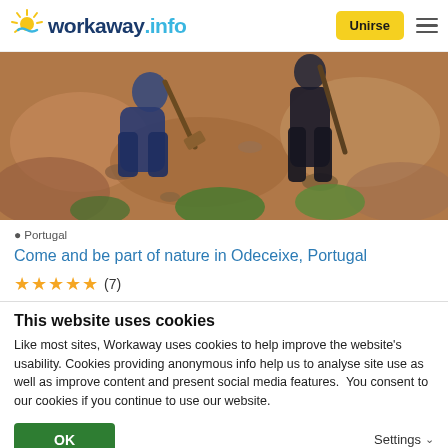workaway.info — Unirse
[Figure (photo): Two people working outdoors on a rocky hillside with plants, digging or gardening in Portugal]
Portugal
Come and be part of nature in Odeceixe, Portugal
★★★★★ (7)
This website uses cookies
Like most sites, Workaway uses cookies to help improve the website's usability. Cookies providing anonymous info help us to analyse site use as well as improve content and present social media features.  You consent to our cookies if you continue to use our website.
OK   Settings